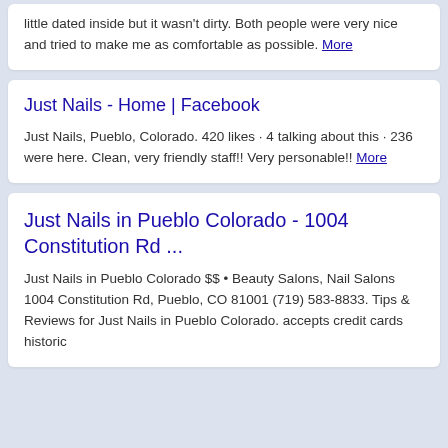little dated inside but it wasn't dirty. Both people were very nice and tried to make me as comfortable as possible. More
Just Nails - Home | Facebook
Just Nails, Pueblo, Colorado. 420 likes · 4 talking about this · 236 were here. Clean, very friendly staff!! Very personable!! More
Just Nails in Pueblo Colorado - 1004 Constitution Rd ...
Just Nails in Pueblo Colorado $$ • Beauty Salons, Nail Salons 1004 Constitution Rd, Pueblo, CO 81001 (719) 583-8833. Tips & Reviews for Just Nails in Pueblo Colorado. accepts credit cards historic